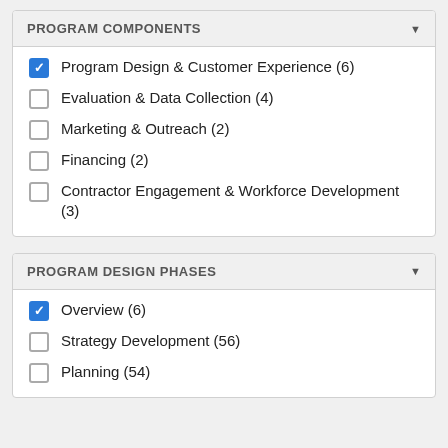PROGRAM COMPONENTS
Program Design & Customer Experience (6)
Evaluation & Data Collection (4)
Marketing & Outreach (2)
Financing (2)
Contractor Engagement & Workforce Development (3)
PROGRAM DESIGN PHASES
Overview (6)
Strategy Development (56)
Planning (54)